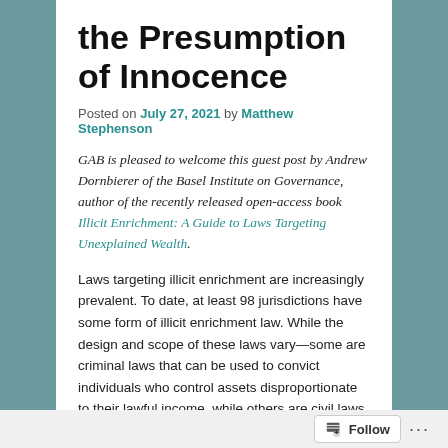the Presumption of Innocence
Posted on July 27, 2021 by Matthew Stephenson
GAB is pleased to welcome this guest post by Andrew Dornbierer of the Basel Institute on Governance, author of the recently released open-access book Illicit Enrichment: A Guide to Laws Targeting Unexplained Wealth.
Laws targeting illicit enrichment are increasingly prevalent. To date, at least 98 jurisdictions have some form of illicit enrichment law. While the design and scope of these laws vary—some are criminal laws that can be used to convict individuals who control assets disproportionate to their lawful income, while others are civil laws that allow governments to seize assets whose